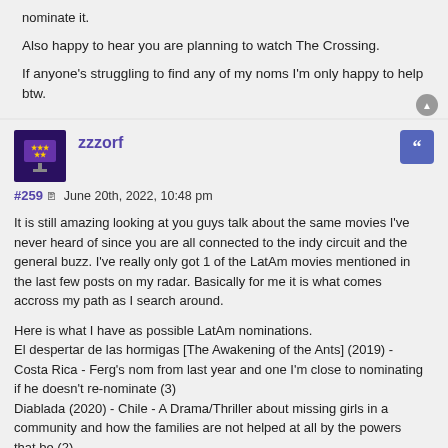nominate it.
Also happy to hear you are planning to watch The Crossing.
If anyone's struggling to find any of my noms I'm only happy to help btw.
zzzorf
#259  June 20th, 2022, 10:48 pm
It is still amazing looking at you guys talk about the same movies I've never heard of since you are all connected to the indy circuit and the general buzz. I've really only got 1 of the LatAm movies mentioned in the last few posts on my radar. Basically for me it is what comes accross my path as I search around.
Here is what I have as possible LatAm nominations.
El despertar de las hormigas [The Awakening of the Ants] (2019) - Costa Rica - Ferg's nom from last year and one I'm close to nominating if he doesn't re-nominate (3)
Diablada (2020) - Chile - A Drama/Thriller about missing girls in a community and how the families are not helped at all by the powers that be (2)
Selva trágica [Tragic Jungle] (2020) - Mexico - A slow moving